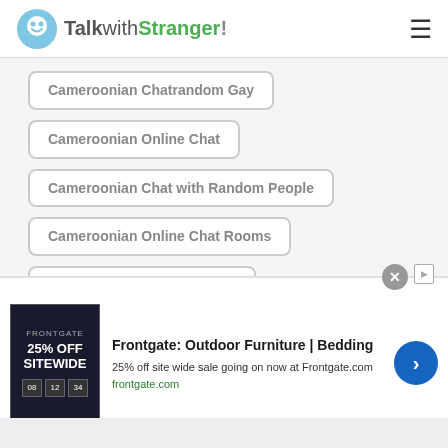TalkwithStranger!
Cameroonian Chatrandom Gay
Cameroonian Online Chat
Cameroonian Chat with Random People
Cameroonian Online Chat Rooms
Cameroonian RolePlay Chat
Cameroonian Random Chat Room
Cameroonian Chat for Free
Cameroonian Online Free Call
[Figure (screenshot): Advertisement for Frontgate Outdoor Furniture and Bedding with 25% off sitewide sale, showing a dark promotional image with '25% OFF SITEWIDE' text and countdown timer boxes.]